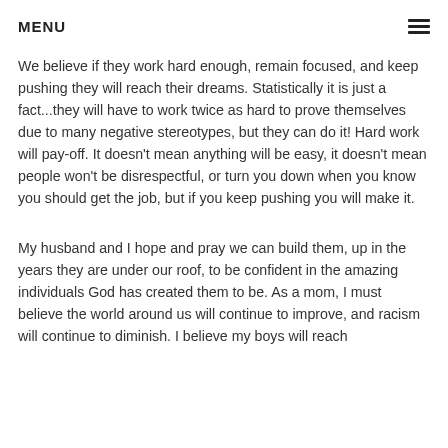MENU
We believe if they work hard enough, remain focused, and keep pushing they will reach their dreams. Statistically it is just a fact...they will have to work twice as hard to prove themselves due to many negative stereotypes, but they can do it! Hard work will pay-off. It doesn't mean anything will be easy, it doesn't mean people won't be disrespectful, or turn you down when you know you should get the job, but if you keep pushing you will make it.
My husband and I hope and pray we can build them, up in the years they are under our roof, to be confident in the amazing individuals God has created them to be. As a mom, I must believe the world around us will continue to improve, and racism will continue to diminish. I believe my boys will reach